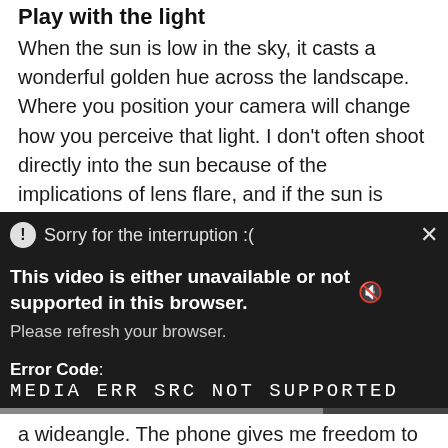Play with the light
When the sun is low in the sky, it casts a wonderful golden hue across the landscape. Where you position your camera will change how you perceive that light. I don't often shoot directly into the sun because of the implications of lens flare, and if the sun is behind you it can make the scene quite garish. Ideally, depending on the circumstances, using side light in your composition
[Figure (screenshot): Video player error overlay on dark background showing 'Sorry for the interruption :(' with alert icon and close X button, bold text 'This video is either unavailable or not supported in this browser.', subtitle 'Please refresh your browser.', Error Code label, and 'MEDIA ERR SRC NOT SUPPORTED' in monospace, with a scrubber bar at bottom. Partial text visible on right side of dark area: 'dawn', 'Top travel p', 'iously', 'ne trick', 'osition', 'arable to'.]
a wideangle. The phone gives me freedom to move around in the scene and pinpoint the best composition without compromising with ambits. And while